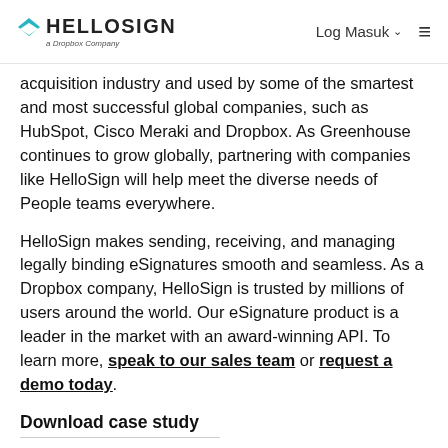HELLOSIGN a Dropbox Company | Log Masuk
acquisition industry and used by some of the smartest and most successful global companies, such as HubSpot, Cisco Meraki and Dropbox. As Greenhouse continues to grow globally, partnering with companies like HelloSign will help meet the diverse needs of People teams everywhere.
HelloSign makes sending, receiving, and managing legally binding eSignatures smooth and seamless. As a Dropbox company, HelloSign is trusted by millions of users around the world. Our eSignature product is a leader in the market with an award-winning API. To learn more, speak to our sales team or request a demo today.
Download case study